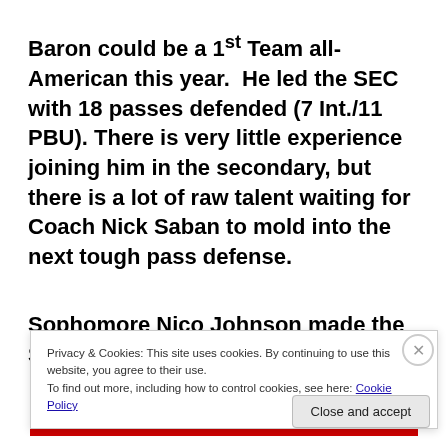Baron could be a 1st Team all-American this year.  He led the SEC with 18 passes defended (7 Int./11 PBU).  There is very little experience joining him in the secondary, but there is a lot of raw talent waiting for Coach Nick Saban to mold into the next tough pass defense.
Sophomore Nico Johnson made the SEC All-
Privacy & Cookies: This site uses cookies. By continuing to use this website, you agree to their use.
To find out more, including how to control cookies, see here: Cookie Policy
Close and accept